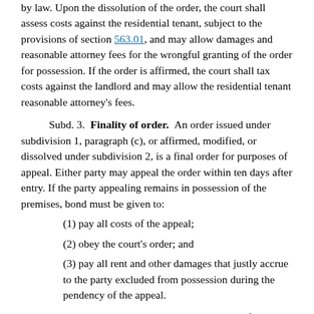by law. Upon the dissolution of the order, the court shall assess costs against the residential tenant, subject to the provisions of section 563.01, and may allow damages and reasonable attorney fees for the wrongful granting of the order for possession. If the order is affirmed, the court shall tax costs against the landlord and may allow the residential tenant reasonable attorney's fees.
Subd. 3. Finality of order. An order issued under subdivision 1, paragraph (c), or affirmed, modified, or dissolved under subdivision 2, is a final order for purposes of appeal. Either party may appeal the order within ten days after entry. If the party appealing remains in possession of the premises, bond must be given to:
(1) pay all costs of the appeal;
(2) obey the court's order; and
(3) pay all rent and other damages that justly accrue to the party excluded from possession during the pendency of the appeal.
Subd. 4. Waiver not allowed. A provision of an oral or written lease or other agreement in which a residential tenant